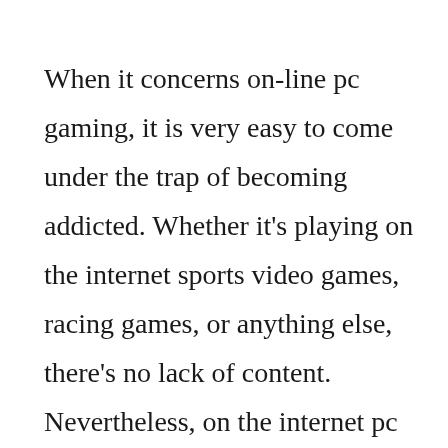When it concerns on-line pc gaming, it is very easy to come under the trap of becoming addicted. Whether it's playing on the internet sports video games, racing games, or anything else, there's no lack of content. Nevertheless, on the internet pc gaming can also be damaging to your wellness and mental well-being. This article will certainly go over several of the usual indication and also symptoms of addiction, in addition to the